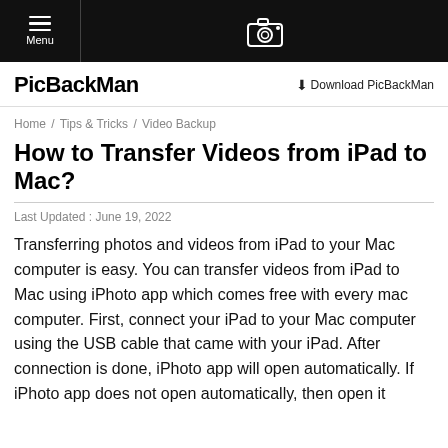Menu | [camera icon] PicBackMan
PicBackMan
Download PicBackMan
Home / Tips & Tricks / Video Backup
How to Transfer Videos from iPad to Mac?
Last Updated : June 19, 2022
Transferring photos and videos from iPad to your Mac computer is easy. You can transfer videos from iPad to Mac using iPhoto app which comes free with every mac computer. First, connect your iPad to your Mac computer using the USB cable that came with your iPad. After connection is done, iPhoto app will open automatically. If iPhoto app does not open automatically, then open it